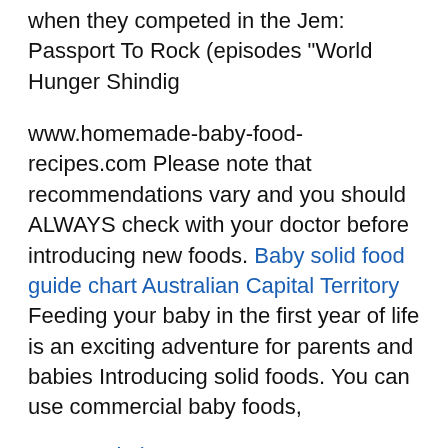when they competed in the Jem: Passport To Rock (episodes "World Hunger Shindig
www.homemade-baby-food-recipes.com Please note that recommendations vary and you should ALWAYS check with your doctor before introducing new foods. Baby solid food guide chart Australian Capital Territory Feeding your baby in the first year of life is an exciting adventure for parents and babies Introducing solid foods. You can use commercial baby foods,
Manitoba
Edmonton movie guide south commen